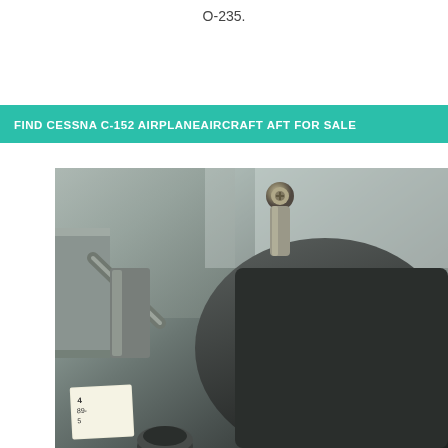O-235.
FIND CESSNA C-152 AIRPLANEAIRCRAFT AFT FOR SALE
[Figure (photo): Close-up photograph of aircraft mechanical components, appears to be an aft section of a Cessna C-152 engine or airframe part, with a small label tag visible in the lower left corner.]